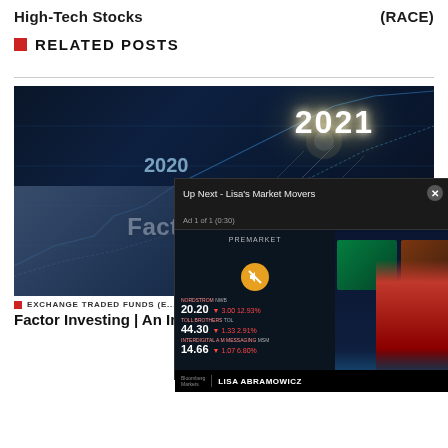High-Tech Stocks
(RACE)
RELATED POSTS
[Figure (screenshot): Article thumbnail showing stock market chart background with '2021' and '2020' text overlay, 'Factor Investing' title, and a hand pointing at digital display. A Bloomberg video popup overlay shows premarket stock data (20.20, 44.30, 14.66) and a news presenter labeled 'Lisa Abramowicz', with 'Up Next - Lisa's Market Movers' header and 'Ad 1 of 1 (0:30)' ad indicator.]
EXCHANGE TRADED FUNDS (E...
Factor Investing | An In...